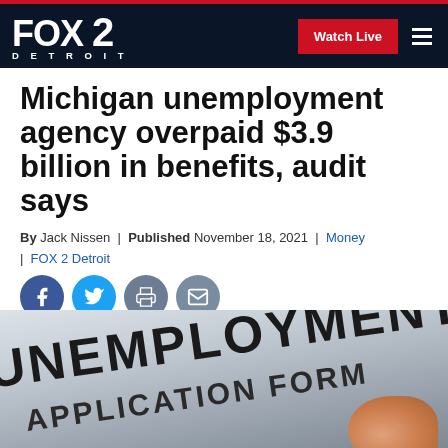FOX 2 DETROIT — Watch Live
Michigan unemployment agency overpaid $3.9 billion in benefits, audit says
By Jack Nissen | Published November 18, 2021 | Money | FOX 2 Detroit
[Figure (illustration): Unemployment Benefits Application Form document with a finger/hand visible in corner]
[Figure (logo): FOX 2 Detroit logo — social share icons: Facebook, Twitter, Print, Email]